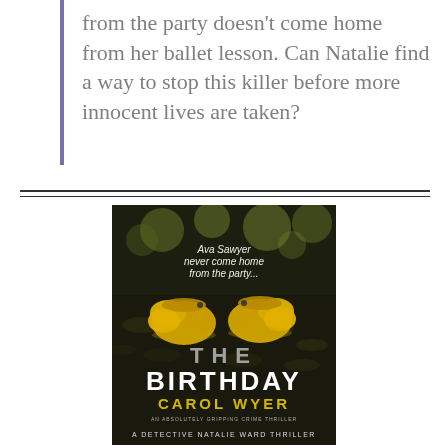from the party doesn't come home from her ballet lesson. Can Natalie find a way to stop this killer before more innocent lives are taken?
[Figure (photo): Book cover of 'The Birthday' by Carol Wyer. Shows yellow children's shoes on dark ground with leaves. Text reads 'Ava Sawyer never come home from the party...' at top, 'THE BIRTHDAY' as title in large letters, 'CAROL WYER' as author name, and 'A DETECTIVE NATALIE WARD THRILLER' at bottom.]